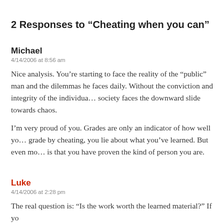2 Responses to “Cheating when you can”
Michael
4/14/2006 at 8:56 am
Nice analysis. You’re starting to face the reality of the “public” man and the dilemmas he faces daily. Without the conviction and integrity of the individual, society faces the downward slide towards chaos.
I’m very proud of you. Grades are only an indicator of how well you learned. If you get a grade by cheating, you lie about what you’ve learned. But even more important than the grade is that you have proven the kind of person you are.
Luke
4/14/2006 at 2:28 pm
The real question is: “Is the work worth the learned material?” If yo